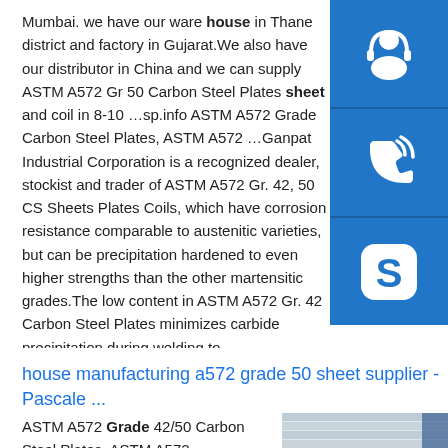Mumbai. we have our ware house in Thane district and factory in Gujarat.We also have our distributor in China and we can supply ASTM A572 Gr 50 Carbon Steel Plates sheet and coil in 8-10 …sp.info ASTM A572 Grade Carbon Steel Plates, ASTM A572 …Ganpat Industrial Corporation is a recognized dealer, stockist and trader of ASTM A572 Gr. 42, 50 CS Sheets Plates Coils, which have corrosion resistance comparable to austenitic varieties, but can be precipitation hardened to even higher strengths than the other martensitic grades.The low content in ASTM A572 Gr. 42 Carbon Steel Plates minimizes carbide precipitation during welding to …
[Figure (other): Blue sidebar with three icons: headset/customer service icon, phone icon, and Skype icon]
house manufacturing a572 grade 50 sheet supplier - Pascale ...
ASTM A572 Grade 42/50 Carbon Steel Plates, ASTM A572 . Manufacturers, Stockist and Supplier of
[Figure (photo): Photo of stacked carbon steel plates in a warehouse with blue metal shelving visible in background]